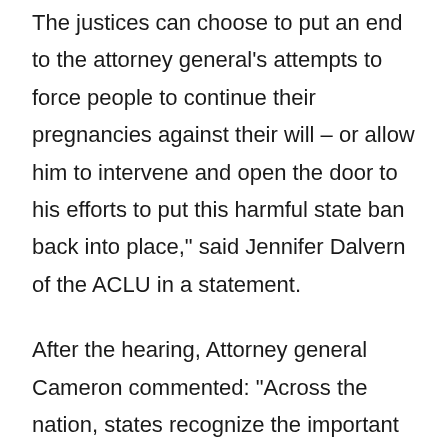The justices can choose to put an end to the attorney general’s attempts to force people to continue their pregnancies against their will – or allow him to intervene and open the door to his efforts to put this harmful state ban back into place,” said Jennifer Dalvern of the ACLU in a statement.
After the hearing, Attorney general Cameron commented: “Across the nation, states recognize the important role they have in protecting life and preserving the ethics of the medical profession. Kentucky is no exception, and the overwhelming passage of our law banning live dismemberment abortions signifies the commitment of Kentuckians to extend dignity and compassion to the unborn. When